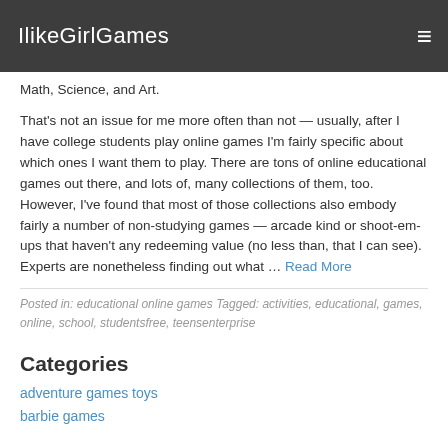IlikeGirlGames
Math, Science, and Art.
That's not an issue for me more often than not — usually, after I have college students play online games I'm fairly specific about which ones I want them to play. There are tons of online educational games out there, and lots of, many collections of them, too. However, I've found that most of those collections also embody fairly a number of non-studying games — arcade kind or shoot-em-ups that haven't any redeeming value (no less than, that I can see). Experts are nonetheless finding out what … Read More
Posted in: educational online games Tagged: activities, educational, games, online, school, studentsfree, teensenterprise
Categories
adventure games toys
barbie games